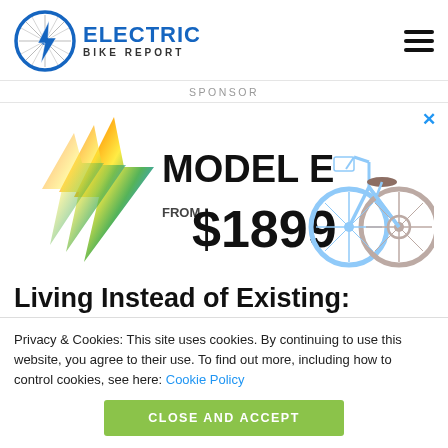[Figure (logo): Electric Bike Report logo with bicycle wheel and lightning bolt icon, blue and dark text]
SPONSOR
[Figure (infographic): Advertisement for Model E electric bike from $1899 with rainbow lightning bolt graphic and image of a light blue cruiser bicycle]
Living Instead of Existing: Losing
Privacy & Cookies: This site uses cookies. By continuing to use this website, you agree to their use. To find out more, including how to control cookies, see here: Cookie Policy
CLOSE AND ACCEPT